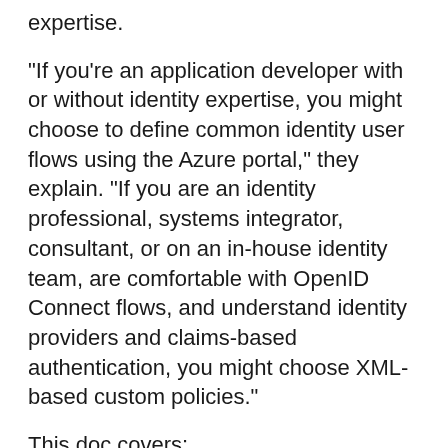expertise.
"If you're an application developer with or without identity expertise, you might choose to define common identity user flows using the Azure portal," they explain. "If you are an identity professional, systems integrator, consultant, or on an in-house identity team, are comfortable with OpenID Connect flows, and understand identity providers and claims-based authentication, you might choose XML-based custom policies."
This doc covers:
Protocols and tokens
Tenants and applications